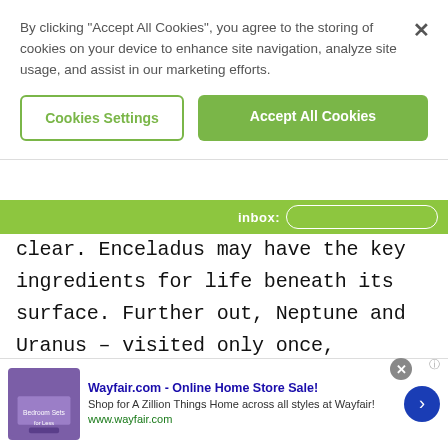By clicking "Accept All Cookies", you agree to the storing of cookies on your device to enhance site navigation, analyze site usage, and assist in our marketing efforts.
Cookies Settings
Accept All Cookies
inbox:
clear. Enceladus may have the key ingredients for life beneath its surface. Further out, Neptune and Uranus – visited only once, fleetingly, by Voyager 2 – give us the chance to study fascinating ice giants.
Dr./Prof. Sarah Hörst @PlanetDr · Follow
Wayfair.com - Online Home Store Sale! Shop for A Zillion Things Home across all styles at Wayfair! www.wayfair.com